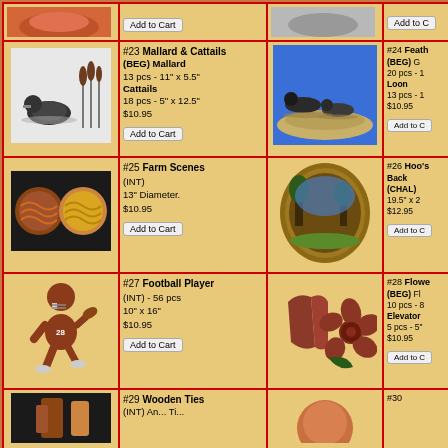[Figure (photo): Duck/mallard decorative wood intarsia piece top partial]
Add to Cart
[Figure (photo): Bird decorative wood intarsia piece top partial]
Add to Cart (partial)
[Figure (photo): Mallard duck with cattails pencil drawing]
#23 Mallard & Cattails (BEG) Mallard 13 pcs - 11" x 5.5" Cattails 18 pcs - 5" x 12.5" $10.95
Add to Cart
[Figure (photo): Loon birds on water intarsia wood art]
#24 Featherstone Back (BEG) Geese 20 pcs - ... Loon 13 pcs - ... $10.95
Add to Cart
[Figure (photo): Farm scenes two circular intarsia wood pieces]
#25 Farm Scenes (INT) 13" Diameter. $10.95
Add to Cart
[Figure (photo): Oval intarsia wood art depicting farm/nature scene]
#26 Hoo's Back (CHAL) 19.5" x 2... $12.95
Add to Cart
[Figure (photo): Football player cartoon intarsia wood piece]
#27 Football Player (INT) - 56 pcs 10" x 16" $10.95
Add to Cart
[Figure (photo): Flower and lady items intarsia wood art]
#28 Flower (BEG) Flower 10 pcs - 8... Elevator 5 pcs - 5"... $10.95
Add to Cart
[Figure (photo): Wooden ties intarsia partial view]
#29 Wooden Ties (INT) An... Ties...
[Figure (photo): Item #30 partial view]